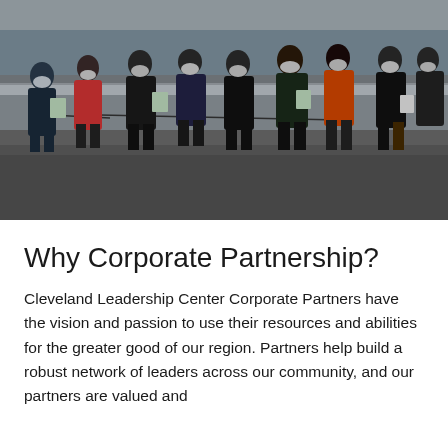[Figure (photo): Group of people wearing face masks standing near a waterfront with gravel and a stone wall in the background. Some hold green folders or clipboards. The group appears to be on an outdoor tour or educational outing.]
Why Corporate Partnership?
Cleveland Leadership Center Corporate Partners have the vision and passion to use their resources and abilities for the greater good of our region. Partners help build a robust network of leaders across our community, and our partners are valued and